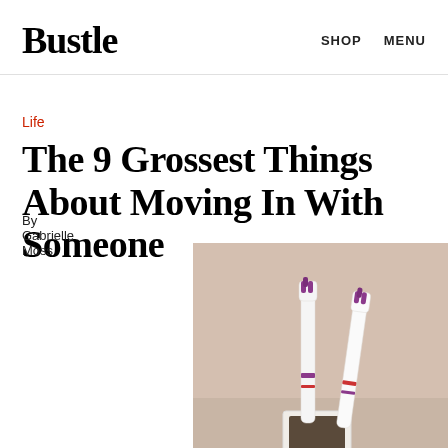Bustle   SHOP   MENU
Life
The 9 Grossest Things About Moving In With Someone
[Figure (photo): Two toothbrushes (white with purple accents) standing upright in a white toothbrush holder, against a beige/tan wall background.]
By Gabrielle Moss